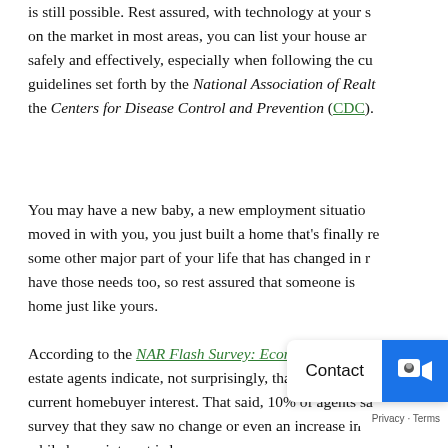is still possible. Rest assured, with technology at your side, on the market in most areas, you can list your house and sell safely and effectively, especially when following the current guidelines set forth by the National Association of Realtors and the Centers for Disease Control and Prevention (CDC).
You may have a new baby, a new employment situation, someone moved in with you, you just built a home that's finally ready, or some other major part of your life that has changed in nature. Others have those needs too, so rest assured that someone is looking for a home just like yours.
According to the NAR Flash Survey: Economic Pulse taken, real estate agents indicate, not surprisingly, that there's a noted drop in current homebuyer interest. That said, 10% of agents said in the survey that they saw no change or even an increase in interest, and while buyer interest is low compared to normal, there are still buyers in the market. Don't forget, there is one for your home.